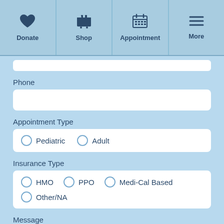Donate | Shop | Appointment | More
Phone
Appointment Type
Pediatric
Adult
Insurance Type
HMO
PPO
Medi-Cal Based
Other/NA
Message